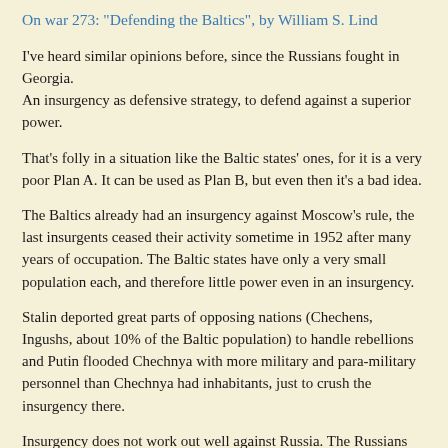On war 273: "Defending the Baltics", by William S. Lind
I've heard similar opinions before, since the Russians fought in Georgia.
An insurgency as defensive strategy, to defend against a superior power.
That's folly in a situation like the Baltic states' ones, for it is a very poor Plan A. It can be used as Plan B, but even then it's a bad idea.
The Baltics already had an insurgency against Moscow's rule, the last insurgents ceased their activity sometime in 1952 after many years of occupation. The Baltic states have only a very small population each, and therefore little power even in an insurgency.
Stalin deported great parts of opposing nations (Chechens, Ingushs, about 10% of the Baltic population) to handle rebellions and Putin flooded Chechnya with more military and para-military personnel than Chechnya had inhabitants, just to crush the insurgency there.
Insurgency does not work out well against Russia. The Russians